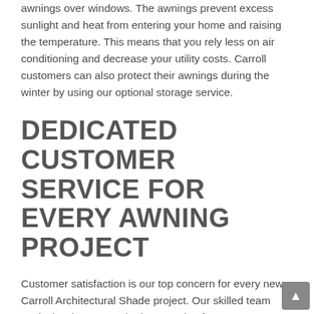awnings over windows. The awnings prevent excess sunlight and heat from entering your home and raising the temperature. This means that you rely less on air conditioning and decrease your utility costs. Carroll customers can also protect their awnings during the winter by using our optional storage service.
DEDICATED CUSTOMER SERVICE FOR EVERY AWNING PROJECT
Customer satisfaction is our top concern for every new Carroll Architectural Shade project. Our skilled team works hard to create the best awning for every customer's property and budget.
Carroll awning frames are built from solid Gatorshield